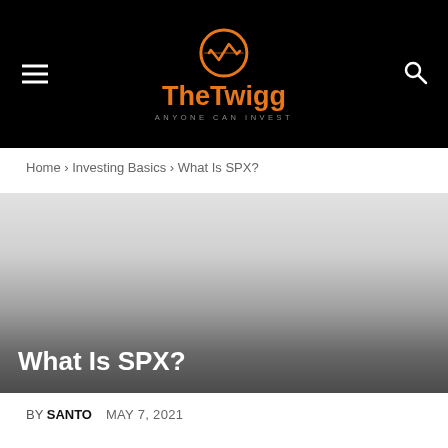TheTwigg — ANYONE CAN INVEST
Home › Investing Basics › What Is SPX?
[Figure (photo): Hero image with gradient from light gray to dark gray, overlaid with article title 'What Is SPX?']
What Is SPX?
BY SANTO   MAY 7, 2021